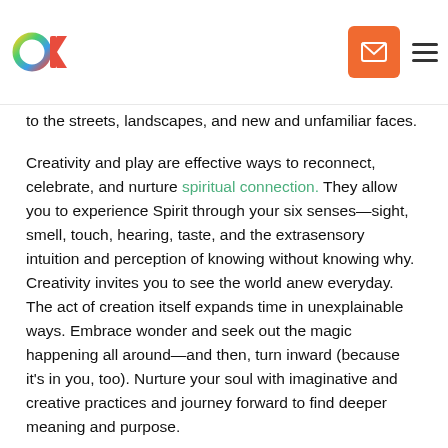[OKcreative logo] [email button] [hamburger menu]
to the streets, landscapes, and new and unfamiliar faces.
Creativity and play are effective ways to reconnect, celebrate, and nurture spiritual connection. They allow you to experience Spirit through your six senses—sight, smell, touch, hearing, taste, and the extrasensory intuition and perception of knowing without knowing why. Creativity invites you to see the world anew everyday. The act of creation itself expands time in unexplainable ways. Embrace wonder and seek out the magic happening all around—and then, turn inward (because it's in you, too). Nurture your soul with imaginative and creative practices and journey forward to find deeper meaning and purpose.